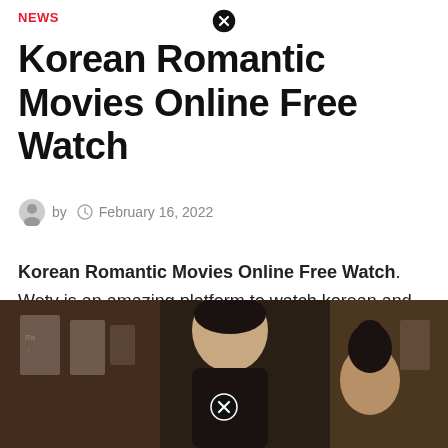NEWS
Korean Romantic Movies Online Free Watch
by  February 16, 2022
Korean Romantic Movies Online Free Watch. Wetv is an amazing platform to watch korean and other asian dramas/movies recently. The best korean romance movie ever!
[Figure (photo): A Korean romantic movie scene showing a young man and woman in an indoor setting, slightly dark atmosphere. A close button overlay appears at the bottom center of the image.]